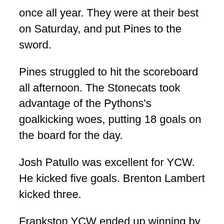once all year. They were at their best on Saturday, and put Pines to the sword.
Pines struggled to hit the scoreboard all afternoon. The Stonecats took advantage of the Pythons's goalkicking woes, putting 18 goals on the board for the day.
Josh Patullo was excellent for YCW. He kicked five goals. Brenton Lambert kicked three.
Frankston YCW ended up winning by 74 points – 18.9 (117) to 5.12 (42).
Brenton Credlin, Lachlan Wallace, and Bailey Angwin were also among the Stonecats' best.
Second-placed Mt Eliza also got a win on Saturday. They got the better of Frankston Bombers by 80 points...